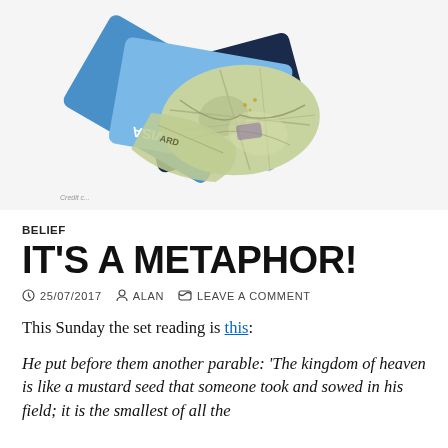[Figure (photo): Photo of crumpled US dollar bills fanned out on top of several credit cards and debit cards including a Visa debit card and a Check Card, on a white background.]
BELIEF
IT'S A METAPHOR!
25/07/2017  ALAN  LEAVE A COMMENT
This Sunday the set reading is this:
He put before them another parable: 'The kingdom of heaven is like a mustard seed that someone took and sowed in his field; it is the smallest of all the